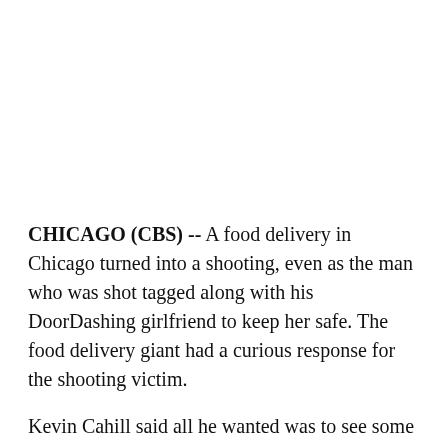CHICAGO (CBS) -- A food delivery in Chicago turned into a shooting, even as the man who was shot tagged along with his DoorDashing girlfriend to keep her safe. The food delivery giant had a curious response for the shooting victim.
Kevin Cahill said all he wanted was to see some concern on the company's end. Instead he said there was more frustration added onto physical pain.